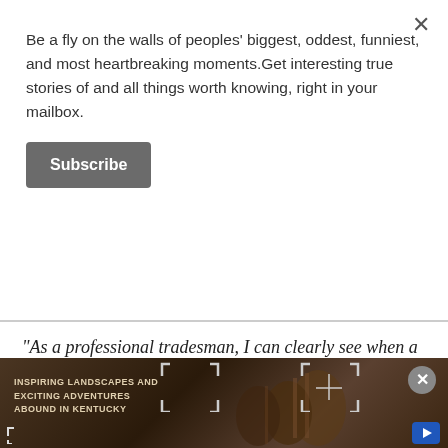Be a fly on the walls of peoples' biggest, oddest, funniest, and most heartbreaking moments.Get interesting true stories of and all things worth knowing, right in your mailbox.
Subscribe
"As a professional tradesman, I can clearly see when a 'handyman' has been doing so-called upgrades."- skuterpikk.
[Figure (photo): Advertisement banner showing barrels/casks in a dark outdoor setting with text 'INSPIRING LANDSCAPES AND EXCITING ADVENTURES ABOUND IN KENTUCKY' and a close button.]